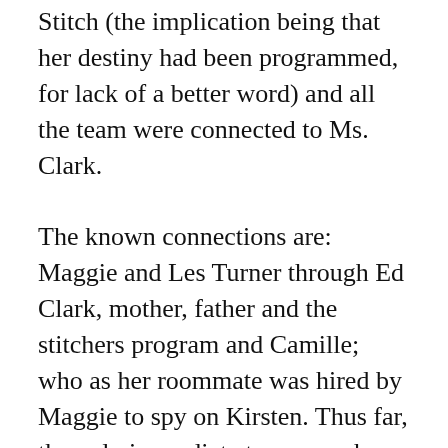Stitch (the implication being that her destiny had been programmed, for lack of a better word) and all the team were connected to Ms. Clark.
The known connections are: Maggie and Les Turner through Ed Clark, mother, father and the stitchers program and Camille; who as her roommate was hired by Maggie to spy on Kirsten. Thus far, the only immediate team member who does not “have a history” with Kirsten is Linus, as well as new team member Detective Quincy Fisher; he only met Kirsten when Ed Clark died.